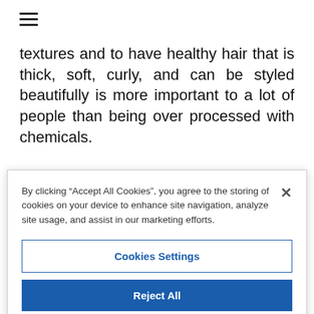[Figure (other): Hamburger menu icon (three horizontal lines)]
textures and to have healthy hair that is thick, soft, curly, and can be styled beautifully is more important to a lot of people than being over processed with chemicals.
[Figure (logo): Facebook social share button - circular dark blue button with white 'f' logo]
By clicking “Accept All Cookies“, you agree to the storing of cookies on your device to enhance site navigation, analyze site usage, and assist in our marketing efforts.
Cookies Settings
Reject All
Accept All Cookies